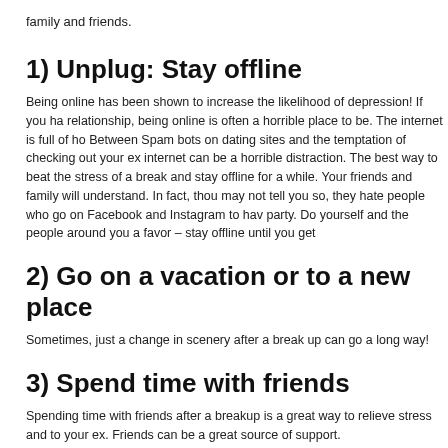family and friends.
1) Unplug: Stay offline
Being online has been shown to increase the likelihood of depression!  If you ha relationship, being online is often a horrible place to be.  The internet is full of ho  Between Spam bots on dating sites and the temptation of checking out your ex internet can be a horrible distraction.  The best way to beat the stress of a break and stay offline for a while.  Your friends and family will understand.  In fact, thou may not tell you so, they hate people who go on Facebook and Instagram to hav party.  Do yourself and the people around you a favor – stay offline until you get
2) Go on a vacation or to a new place
Sometimes, just a change in scenery after a break up can go a long way!
3) Spend time with friends
Spending time with friends after a breakup is a great way to relieve stress and to your ex.  Friends can be a great source of support.